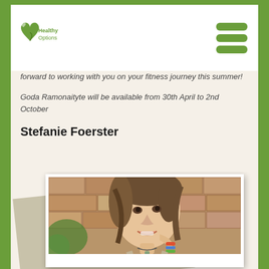Healthy Options
forward to working with you on your fitness journey this summer!
Goda Ramonaityte will be available from 30th April to 2nd October
Stefanie Foerster
[Figure (photo): Portrait photo of a smiling young woman with brown hair, wearing a necklace and colorful bracelet, posed against a stone brick wall background. Photo presented in polaroid-style frame with a second overlapping frame behind it.]